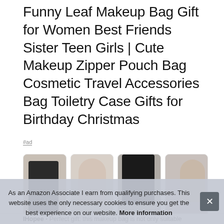Funny Leaf Makeup Bag Gift for Women Best Friends Sister Teen Girls | Cute Makeup Zipper Pouch Bag Cosmetic Travel Accessories Bag Toiletry Case Gifts for Birthday Christmas
#ad
[Figure (photo): Four thumbnail images showing women/models with what appear to be makeup bags or cosmetic products]
As an Amazon Associate I earn from qualifying purchases. This website uses the only necessary cookies to ensure you get the best experience on our website. More information
IHopee · Perfect gift: this makeup bag is not only suitable